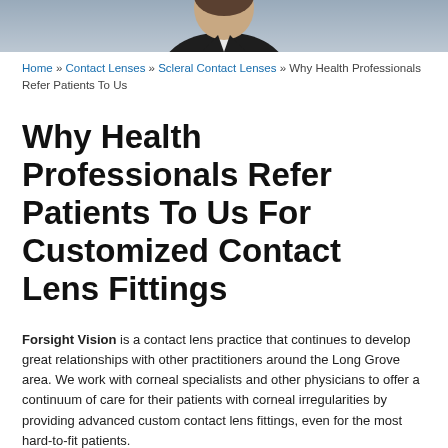[Figure (photo): Partial photo of a man in a dark blazer and white shirt, cropped at the top of the page]
Home » Contact Lenses » Scleral Contact Lenses » Why Health Professionals Refer Patients To Us
Why Health Professionals Refer Patients To Us For Customized Contact Lens Fittings
Forsight Vision is a contact lens practice that continues to develop great relationships with other practitioners around the Long Grove area. We work with corneal specialists and other physicians to offer a continuum of care for their patients with corneal irregularities by providing advanced custom contact lens fittings, even for the most hard-to-fit patients.